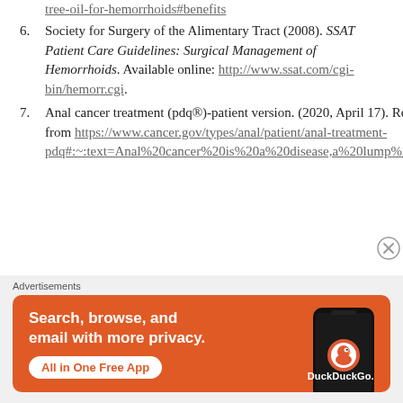tree-oil-for-hemorrhoids#benefits
Society for Surgery of the Alimentary Tract (2008). SSAT Patient Care Guidelines: Surgical Management of Hemorrhoids. Available online: http://www.ssat.com/cgi-bin/hemorr.cgi.
Anal cancer treatment (pdq®)-patient version. (2020, April 17). Retrieved April 24, 2021, from https://www.cancer.gov/types/anal/patient/anal-treatment-pdq#:~:text=Anal%20cancer%20is%20a%20disease,a%20lump%20near%20the%20anus.
[Figure (other): DuckDuckGo advertisement banner: orange background with text 'Search, browse, and email with more privacy. All in One Free App' and a phone illustration with DuckDuckGo logo and brand name.]